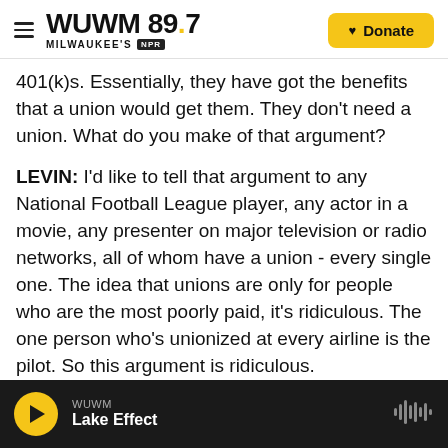WUWM 89.7 MILWAUKEE'S NPR | Donate
401(k)s. Essentially, they have got the benefits that a union would get them. They don't need a union. What do you make of that argument?
LEVIN: I'd like to tell that argument to any National Football League player, any actor in a movie, any presenter on major television or radio networks, all of whom have a union - every single one. The idea that unions are only for people who are the most poorly paid, it's ridiculous. The one person who's unionized at every airline is the pilot. So this argument is ridiculous.
WUWM | Lake Effect